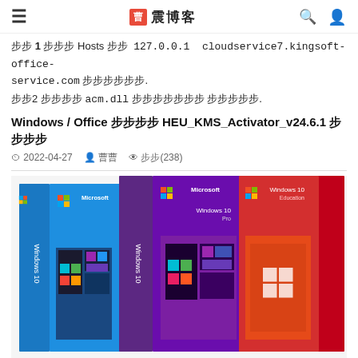≡  曹震博客  🔍 👤
步骤 1 打开 Hosts 文件  127.0.0.1  cloudservice7.kingsoft-office-service.com 并保存退出.
步骤2 删除或备份 acm.dll 文件即可彻底解决 激活弹窗问题.
Windows / Office 激活神器 HEU_KMS_Activator_v24.6.1 下载安装
2022-04-27  曹  阅读(238)
[Figure (photo): Three Microsoft Windows 10 product boxes side by side: a blue Windows 10 Home box on the left, a purple Windows 10 (standard) box in the center, and a red Windows 10 Education box on the right. Each box shows the Microsoft logo and Windows 10 branding with a screenshot of the Windows 10 desktop/Start menu.]